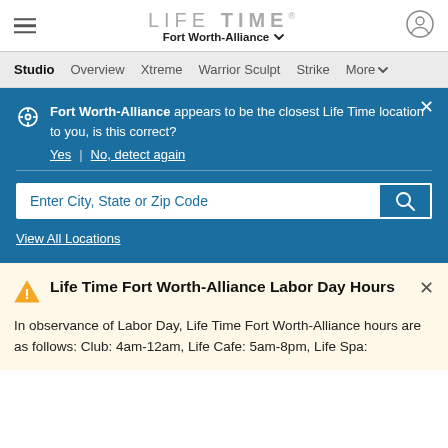LIFE TIME — Fort Worth-Alliance
Studio | Overview | Xtreme | Warrior Sculpt | Strike | More
Fort Worth-Alliance appears to be the closest Life Time location to you, is this correct? Yes | No, detect again
Enter City, State or Zip Code
View All Locations
Life Time Fort Worth-Alliance Labor Day Hours
In observance of Labor Day, Life Time Fort Worth-Alliance hours are as follows: Club: 4am-12am, Life Cafe: 5am-8pm, Life Spa: